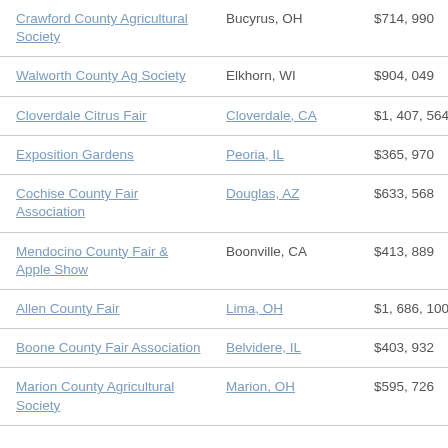| Organization | Location | Amount |
| --- | --- | --- |
| Crawford County Agricultural Society | Bucyrus, OH | $714,990 |
| Walworth County Ag Society | Elkhorn, WI | $904,049 |
| Cloverdale Citrus Fair | Cloverdale, CA | $1,407,564 |
| Exposition Gardens | Peoria, IL | $365,970 |
| Cochise County Fair Association | Douglas, AZ | $633,568 |
| Mendocino County Fair & Apple Show | Boonville, CA | $413,889 |
| Allen County Fair | Lima, OH | $1,686,100 |
| Boone County Fair Association | Belvidere, IL | $403,932 |
| Marion County Agricultural Society | Marion, OH | $595,726 |